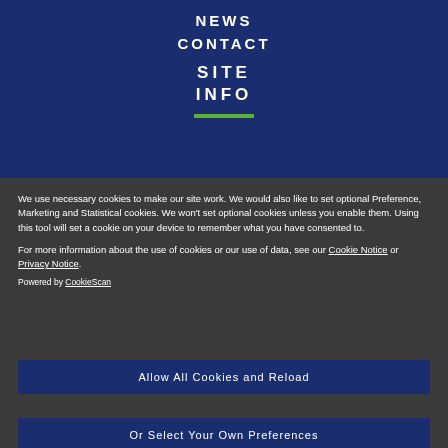NEWS
CONTACT
SITE INFO
We use necessary cookies to make our site work. We would also like to set optional Preference, Marketing and Statistical cookies. We won’t set optional cookies unless you enable them. Using this tool will set a cookie on your device to remember what you have consented to.
For more information about the use of cookies or our use of data, see our Cookie Notice or Privacy Notice.
Powered by CookieScan
Allow All Cookies and Reload
Or Select Your Own Preferences